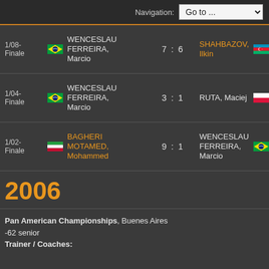Navigation: Go to ...
| Round | Player 1 | Score | Player 2 |
| --- | --- | --- | --- |
| 1/08-Finale | WENCESLAU FERREIRA, Marcio (BRA) | 7 : 6 | SHAHBAZOV, Ilkin (AZE) |
| 1/04-Finale | WENCESLAU FERREIRA, Marcio (BRA) | 3 : 1 | RUTA, Maciej (POL) |
| 1/02-Finale | BAGHERI MOTAMED, Mohammed (IRI) | 9 : 1 | WENCESLAU FERREIRA, Marcio (BRA) |
2006
Pan American Championships, Buenes Aires
-62 senior
Trainer / Coaches: